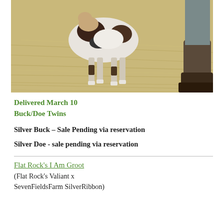[Figure (photo): A goat with black and white spotted coat standing on hay/straw, with a person's boot visible at the right edge.]
Delivered March 10
Buck/Doe Twins
Silver Buck – Sale Pending via reservation
Silver Doe - sale pending via reservation
Flat Rock's I Am Groot
(Flat Rock's Valiant x
SevenFieldsFarm SilverRibbon)